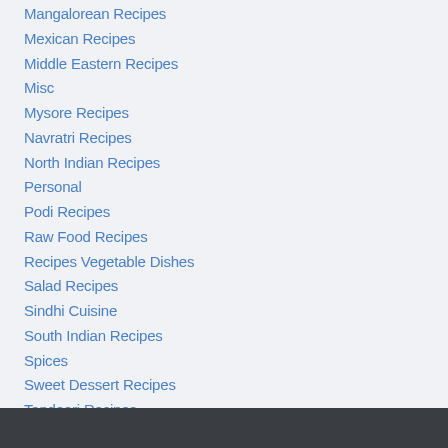Mangalorean Recipes
Mexican Recipes
Middle Eastern Recipes
Misc
Mysore Recipes
Navratri Recipes
North Indian Recipes
Personal
Podi Recipes
Raw Food Recipes
Recipes Vegetable Dishes
Salad Recipes
Sindhi Cuisine
South Indian Recipes
Spices
Sweet Dessert Recipes
Tandoori Recipes
Thai Recipes
Vegetable